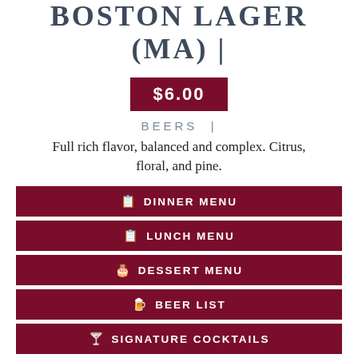BOSTON LAGER (MA) |
$6.00
BEERS |
Full rich flavor, balanced and complex. Citrus, floral, and pine.
DINNER MENU
LUNCH MENU
DESSERT MENU
BEER LIST
SIGNATURE COCKTAILS
WINE LIST